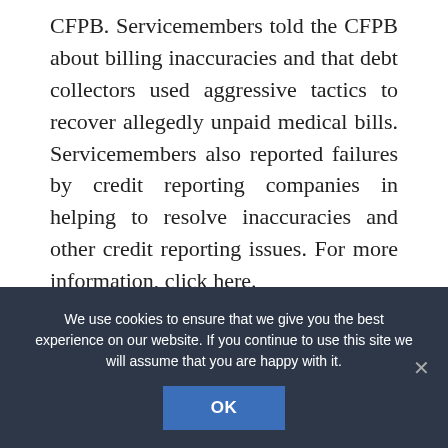CFPB. Servicemembers told the CFPB about billing inaccuracies and that debt collectors used aggressive tactics to recover allegedly unpaid medical bills. Servicemembers also reported failures by credit reporting companies in helping to resolve inaccuracies and other credit reporting issues. For more information, click here.
On June 11, Coin Center, a nonprofit group focused on cryptocurrency, sued the United States, the Treasury Department, the Internal
We use cookies to ensure that we give you the best experience on our website. If you continue to use this site we will assume that you are happy with it.